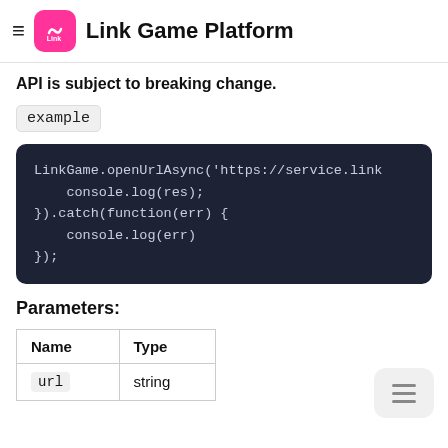Link Game Platform
API is subject to breaking change.
example
LinkGame.openUrlAsync('https://service.link
    console.log(res);
}).catch(function(err) {
    console.log(err)
});
Parameters:
| Name | Type |
| --- | --- |
| url | string |